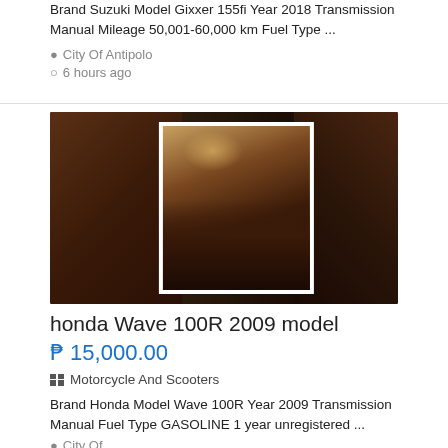Brand Suzuki Model Gixxer 155fi Year 2018 Transmission Manual Mileage 50,001-60,000 km Fuel Type ...
City Of Antipolo
6 hours ago
[Figure (photo): Photo of a motorcycle (Honda Wave) shown in a dark setting, with a framed center image showing the bike from above/side angle in low light.]
honda Wave 100R 2009 model
₱ 15,000.00
Motorcycle And Scooters
Brand Honda Model Wave 100R Year 2009 Transmission Manual Fuel Type GASOLINE 1 year unregistered ...
City Of...